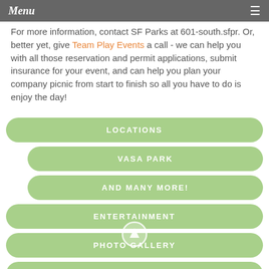Menu
For more information, contact SF Parks at 601-south.sfpr. Or, better yet, give Team Play Events a call - we can help you with all those reservation and permit applications, submit insurance for your event, and can help you plan your company picnic from start to finish so all you have to do is enjoy the day!
LOCATIONS
VASA PARK
AND MANY MORE!
ENTERTAINMENT
PHOTO GALLERY
DOWNLOADABLE BROCHURE